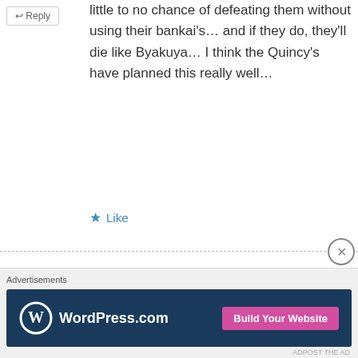little to no chance of defeating them without using their bankai's… and if they do, they'll die like Byakuya… I think the Quincy's have planned this really well…
Like
Ne3X7
July 26, 2012 at 5:37 pm
They got vizards, who might be just like Ichigo in the way of their bankais being unable so be stolen (sorry, I completely lost in the words, I mean they have
Advertisements
[Figure (screenshot): WordPress.com advertisement banner with dark blue background, WordPress logo, and pink 'Build Your Website' button]